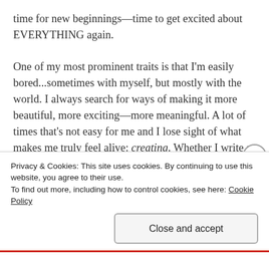time for new beginnings—time to get excited about EVERYTHING again.

One of my most prominent traits is that I'm easily bored...sometimes with myself, but mostly with the world. I always search for ways of making it more beautiful, more exciting—more meaningful. A lot of times that's not easy for me and I lose sight of what makes me truly feel alive: creating. Whether I write a piece of music, a poem, draw, paint a poster, or make food fit for the eyes of a Queen...it always becomes a reminder that this strange planet combined with imagination can be quite
Privacy & Cookies: This site uses cookies. By continuing to use this website, you agree to their use.
To find out more, including how to control cookies, see here: Cookie Policy
Close and accept